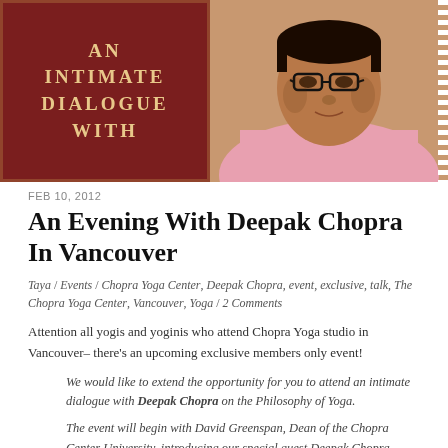[Figure (photo): Banner image split into two halves: left side is a dark red/maroon background with text 'AN INTIMATE DIALOGUE WITH' in cream/gold letters; right side shows a photo of a man (Deepak Chopra) wearing glasses and a pink shirt, framed with a perforated stamp-like border on the right edge.]
FEB 10, 2012
An Evening With Deepak Chopra In Vancouver
Taya / Events / Chopra Yoga Center, Deepak Chopra, event, exclusive, talk, The Chopra Yoga Center, Vancouver, Yoga / 2 Comments
Attention all yogis and yoginis who attend Chopra Yoga studio in Vancouver– there's an upcoming exclusive members only event!
We would like to extend the opportunity for you to attend an intimate dialogue with Deepak Chopra on the Philosophy of Yoga.
The event will begin with David Greenspan, Dean of the Chopra Center University, introducing our special guest Deepak Chopra, founder of the Chopra Center for...